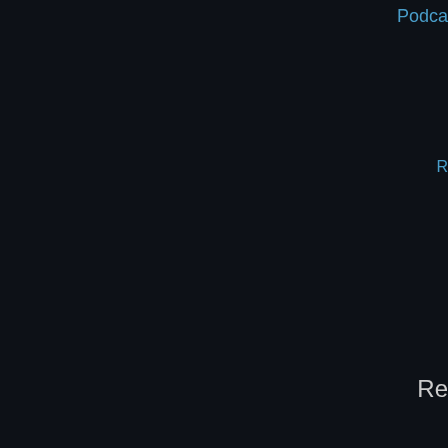Podca...
R...
Re...
Law E...
Bu...
Victim...
Reports...
What W...
T...